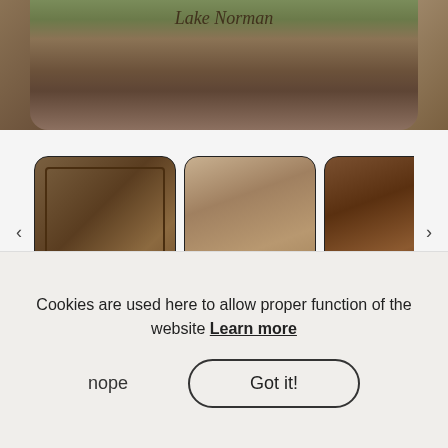[Figure (photo): Top hero image of a walnut wood cutting board with 'Lake Norman' script engraving, shown on rocky/grassy outdoor background]
[Figure (photo): Thumbnail row showing four product photos: (1) overhead view of walnut board with inner border, (2) side view of lighter walnut board, (3) dark walnut board with small bottle, (4) partial view of wooden item. Navigation arrows on left and right.]
Walnut Wood Cutting Board with Juice Groove
Cookies are used here to allow proper function of the website Learn more
nope
Got it!